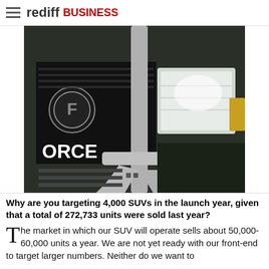rediff BUSINESS
[Figure (photo): Close-up front view of a Force Motors SUV showing the grille with 'FORCE' branding, headlights, and a silver bull bar/crash guard.]
Why are you targeting 4,000 SUVs in the launch year, given that a total of 272,733 units were sold last year?
The market in which our SUV will operate sells about 50,000-60,000 units a year. We are not yet ready with our front-end to target larger numbers. Neither do we want to